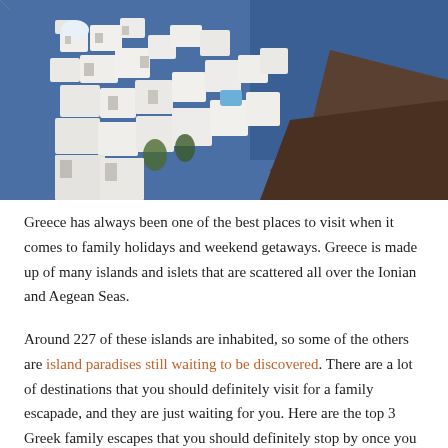[Figure (photo): Aerial photograph of Santorini, Greece, showing white-washed buildings and blue sea on a rocky cliff]
Greece has always been one of the best places to visit when it comes to family holidays and weekend getaways. Greece is made up of many islands and islets that are scattered all over the Ionian and Aegean Seas.
Around 227 of these islands are inhabited, so some of the others are island paradises still waiting to be discovered. There are a lot of destinations that you should definitely visit for a family escapade, and they are just waiting for you. Here are the top 3 Greek family escapes that you should definitely stop by once you are in the country.